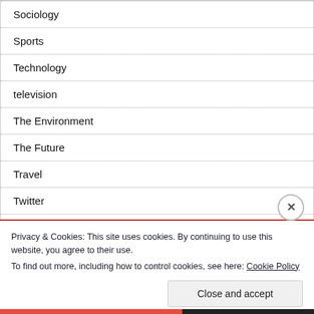Sociology
Sports
Technology
television
The Environment
The Future
Travel
Twitter
Privacy & Cookies: This site uses cookies. By continuing to use this website, you agree to their use.
To find out more, including how to control cookies, see here: Cookie Policy
Close and accept